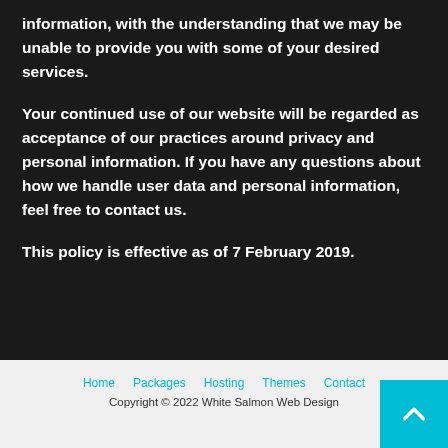information, with the understanding that we may be unable to provide you with some of your desired services.
Your continued use of our website will be regarded as acceptance of our practices around privacy and personal information. If you have any questions about how we handle user data and personal information, feel free to contact us.
This policy is effective as of 7 February 2019.
Home · Packages · Hosting · Themes · Contact
Copyright © 2022 White Salmon Web Design